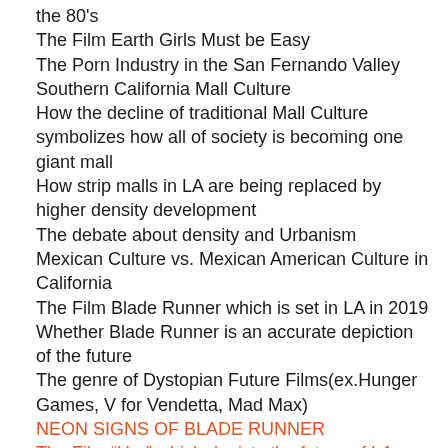the 80's
The Film Earth Girls Must be Easy
The Porn Industry in the San Fernando Valley
Southern California Mall Culture
How the decline of traditional Mall Culture symbolizes how all of society is becoming one giant mall
How strip malls in LA are being replaced by higher density development
The debate about density and Urbanism
Mexican Culture vs. Mexican American Culture in California
The Film Blade Runner which is set in LA in 2019
Whether Blade Runner is an accurate depiction of the future
The genre of Dystopian Future Films(ex.Hunger Games, V for Vendetta, Mad Max)
NEON SIGNS OF BLADE RUNNER
The Film “Her” which depicts the future of LA as an eco friendly SWPL utopia
The decline in the quality of products